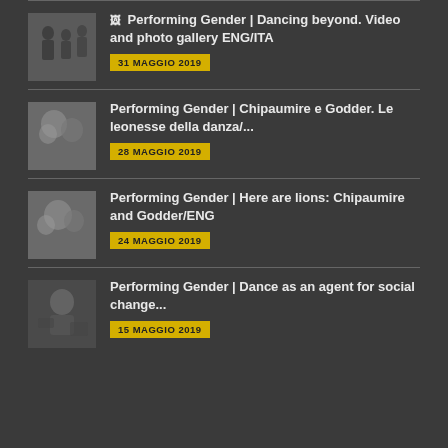[Figure (photo): Black and white photo of people walking in a public space]
Performing Gender | Dancing beyond. Video and photo gallery ENG/ITA
31 MAGGIO 2019
[Figure (photo): Black and white close-up photo of people]
Performing Gender | Chipaumire e Godder. Le leonesse della danza/...
28 MAGGIO 2019
[Figure (photo): Black and white close-up photo of people]
Performing Gender | Here are lions: Chipaumire and Godder/ENG
24 MAGGIO 2019
[Figure (photo): Black and white photo of a person with headphones]
Performing Gender | Dance as an agent for social change...
15 MAGGIO 2019